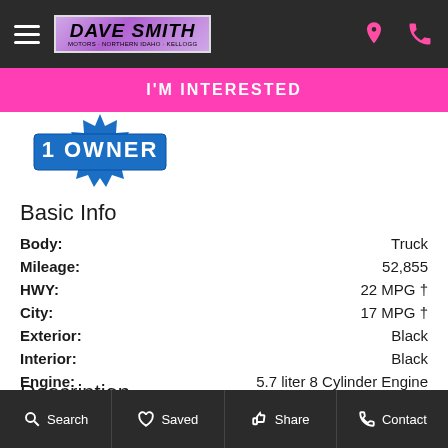Dave Smith Motors navigation bar
I'M INTERESTED
[Figure (illustration): 1 Owner badge/seal with blue starburst background]
Basic Info
| Field | Value |
| --- | --- |
| Body: | Truck |
| Mileage: | 52,855 |
| HWY: | 22 MPG † |
| City: | 17 MPG † |
| Exterior: | Black |
| Interior: | Black |
| Engine: | 5.7 liter 8 Cylinder Engine |
| Trans: | Automatic |
Description
Search  Saved  Share  Contact